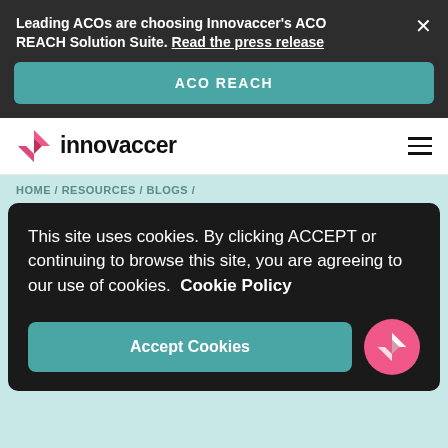Leading ACOs are choosing Innovaccer's ACO REACH Solution Suite. Read the press release
ACO REACH
[Figure (logo): Innovaccer logo with pink geometric icon and bold black wordmark]
HOME / RESOURCES / BLOGS /
Optimizing the
This site uses cookies. By clicking ACCEPT or continuing to browse this site, you are agreeing to our use of cookies.  Cookie Policy
Accept Cookies